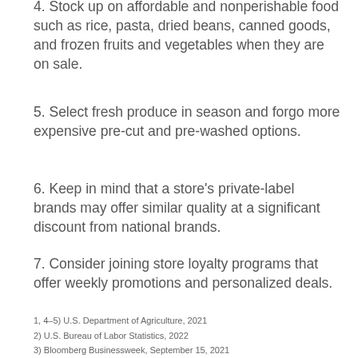4. Stock up on affordable and nonperishable food such as rice, pasta, dried beans, canned goods, and frozen fruits and vegetables when they are on sale.
5. Select fresh produce in season and forgo more expensive pre-cut and pre-washed options.
6. Keep in mind that a store's private-label brands may offer similar quality at a significant discount from national brands.
7. Consider joining store loyalty programs that offer weekly promotions and personalized deals.
1, 4–5) U.S. Department of Agriculture, 2021
2) U.S. Bureau of Labor Statistics, 2022
3) Bloomberg Businessweek, September 15, 2021